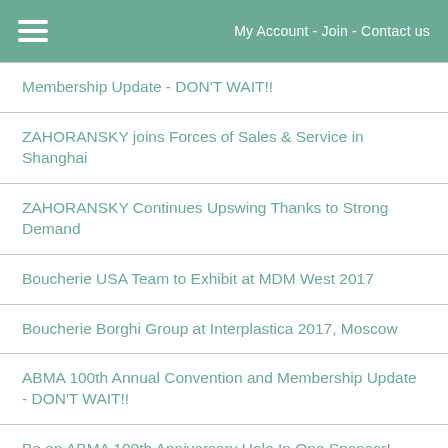My Account - Join - Contact us
Membership Update - DON'T WAIT!!
ZAHORANSKY joins Forces of Sales & Service in Shanghai
ZAHORANSKY Continues Upswing Thanks to Strong Demand
Boucherie USA Team to Exhibit at MDM West 2017
Boucherie Borghi Group at Interplastica 2017, Moscow
ABMA 100th Annual Convention and Membership Update - DON'T WAIT!!
Be an ABMA 100th Anniversary Hole In One Sponsor!